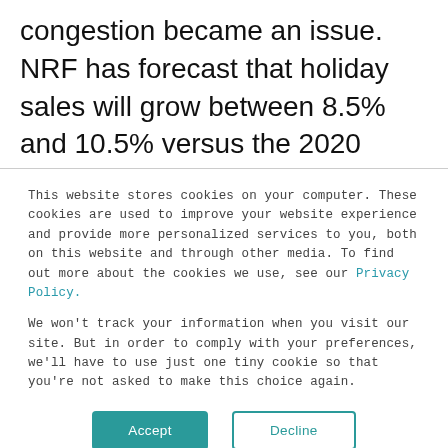congestion became an issue. NRF has forecast that holiday sales will grow between 8.5% and 10.5% versus the 2020 season.
The major U.S. ports covered by Global Port Tracker handled 2.14 million Twenty-Foot
This website stores cookies on your computer. These cookies are used to improve your website experience and provide more personalized services to you, both on this website and through other media. To find out more about the cookies we use, see our Privacy Policy.
We won't track your information when you visit our site. But in order to comply with your preferences, we'll have to use just one tiny cookie so that you're not asked to make this choice again.